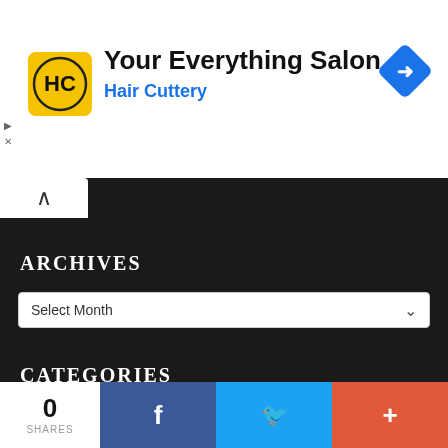[Figure (screenshot): Hair Cuttery advertisement banner with logo (HC in yellow circle), title 'Your Everything Salon', subtitle 'Hair Cuttery' in blue, and a blue navigation diamond icon on the right]
ARCHIVES
Select Month
CATEGORIES
Select Category
<Nob6 Blog> Copyright © 2022. Powered by Jan Suchna Portal | SEO Khazana B
0 SHARES
[Figure (screenshot): Social share bar with Facebook, Twitter, and plus buttons]